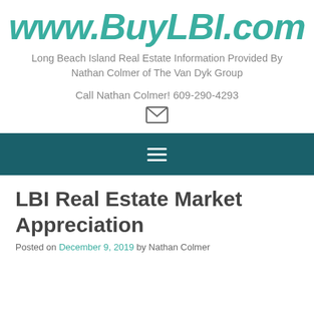www.BuyLBI.com
Long Beach Island Real Estate Information Provided By Nathan Colmer of The Van Dyk Group
Call Nathan Colmer! 609-290-4293
[Figure (other): Envelope/mail icon]
[Figure (other): Hamburger menu icon on dark teal navigation bar]
LBI Real Estate Market Appreciation
Posted on December 9, 2019 by Nathan Colmer